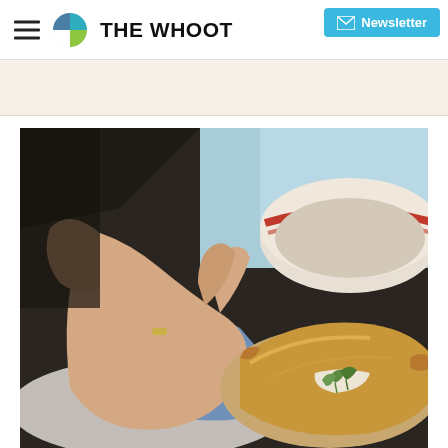THE WHOOT - Newsletter
[Figure (photo): Food photo showing hands holding a pie dish with a golden pastry crust and a baked dish garnished with cream and herbs, with a blue gingham cloth, a white bowl with red stripe in background]